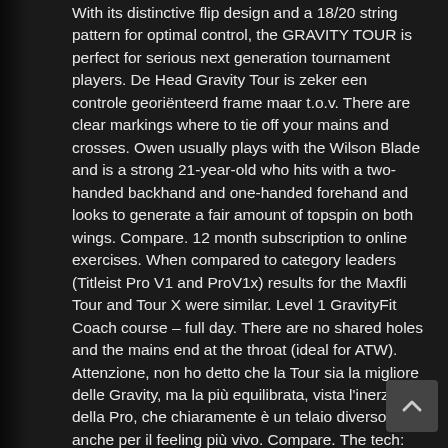With its distinctive flip design and a 18/20 string pattern for optimal control, the GRAVITY TOUR is perfect for serious next generation tournament players. De Head Gravity Tour is zeker een controle georiënteerd frame maar t.o.v. There are clear markings where to tie off your mains and crosses. Owen usually plays with the Wilson Blade and is a strong 21-year-old who hits with a two-handed backhand and one-handed forehand and looks to generate a fair amount of topspin on both wings. Compare. 12 month subscription to online exercises. When compared to category leaders (Titleist Pro V1 and ProV1x) results for the Maxfli Tour and Tour X were similar. Level 1 GravityFit Coach course – full day. There are no shared holes and the mains end at the throat (ideal for ATW). Attenzione, non ho detto che la Tour sia la migliore delle Gravity, ma la più equilibrata, vista l'inerzia della Pro, che chiaramente è un telaio diverso anche per il feeling più vivo. Compare. The tech: Performance fit (bit baggery) with adjustable hem and cuffs. If you have a chicken wing back or through in ... The Pro, which